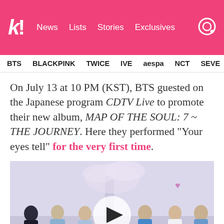k! News Lists Stories Exclusives
BTS  BLACKPINK  TWICE  IVE  aespa  NCT  SEVE
On July 13 at 10 PM (KST), BTS guested on the Japanese program CDTV Live to promote their new album, MAP OF THE SOUL: 7 ~ THE JOURNEY. Here they performed “Your eyes tell” for the very first time.
[Figure (photo): BTS members seated in a row on a stage with a cherry blossom tree backdrop, with a video play button overlay in the center.]